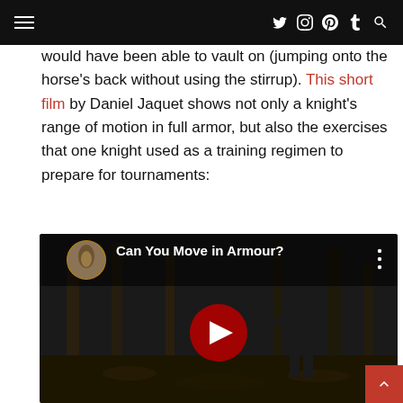≡  [twitter] [instagram] [pinterest] [tumblr] [search]
would have been able to vault on (jumping onto the horse's back without using the stirrup). This short film by Daniel Jaquet shows not only a knight's range of motion in full armor, but also the exercises that one knight used as a training regimen to prepare for tournaments:
[Figure (screenshot): YouTube video embed thumbnail showing a knight in full armor in a forest. Title reads 'Can You Move in Armour?' with a red play button in the center and a circular channel icon in the top left.]